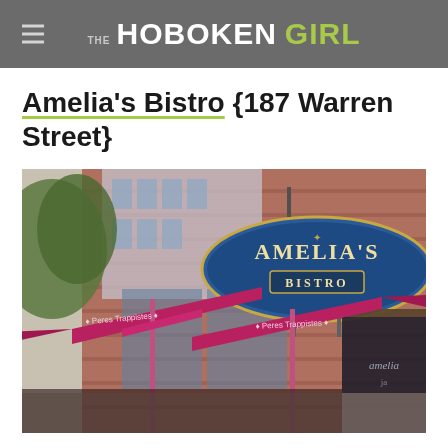THE HOBOKEN GIRL
Amelia's Bistro {187 Warren Street}
[Figure (photo): Exterior photo of Amelia's Bistro at 187 Warren Street, Hoboken. Shows the restaurant's blue oval sign with 'AMELIA'S BISTRO' text mounted on a brick building. In the foreground are red/maroon outdoor patio umbrellas branded 'Peres Trappistes'. The restaurant window on the right shows an Amelia's logo graphic.]